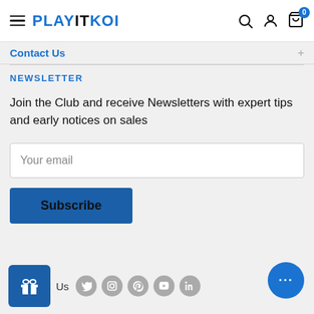PLAYITKOI
Contact Us
NEWSLETTER
Join the Club and receive Newsletters with expert tips and early notices on sales
Your email
Subscribe
Follow Us